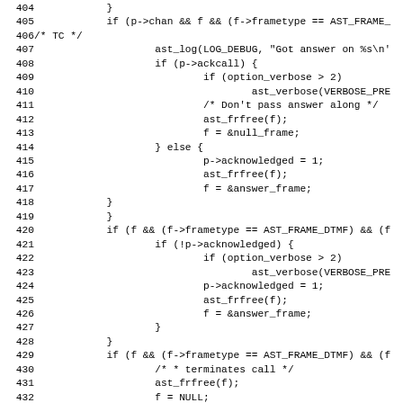[Figure (screenshot): Source code listing in C showing lines 404-435 of what appears to be Asterisk PBX source code, handling call frames, DTMF, and voice frames with monospace font on white background.]